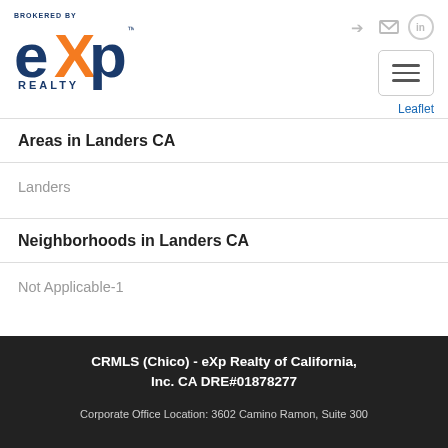[Figure (logo): eXp Realty logo — 'BROKERED BY' text above, large 'exp' letters with orange X, 'REALTY' below in navy blue]
Areas in Landers CA
Landers
Neighborhoods in Landers CA
Not Applicable-1
CRMLS (Chico) - eXp Realty of California, Inc. CA DRE#01878277
Corporate Office Location: 3602 Camino Ramon, Suite 300